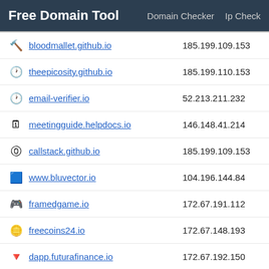Free Domain Tool   Domain Checker   Ip Check
bloodmallet.github.io   185.199.109.153
theepicosity.github.io   185.199.110.153
email-verifier.io   52.213.211.232
meetingguide.helpdocs.io   146.148.41.214
callstack.github.io   185.199.109.153
www.bluvector.io   104.196.144.84
framedgame.io   172.67.191.112
freecoins24.io   172.67.148.193
dapp.futurafinance.io   172.67.192.150
amongus2.io   172.67.217.126
leodex.io   104.21.18.117
app.getdirect.io   104.21.38.219
smartlogic.io   104.21.91.246